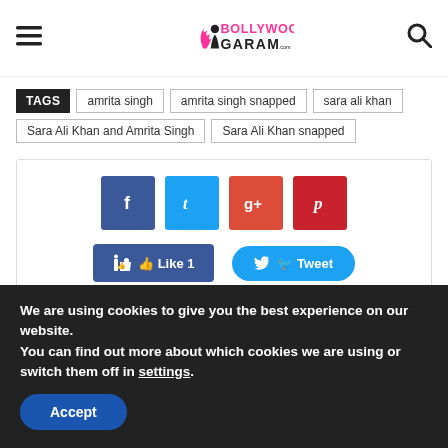[Figure (logo): Bollywood Garam .com logo in pink and black with flame design]
TAGS  amrita singh  amrita singh snapped  sara ali khan  Sara Ali Khan and Amrita Singh  Sara Ali Khan snapped
[Figure (infographic): Social share buttons: Facebook, Twitter, Google+, Pinterest icons, Like 1 button, Tweet button]
We are using cookies to give you the best experience on our website.
You can find out more about which cookies we are using or switch them off in settings.
Accept